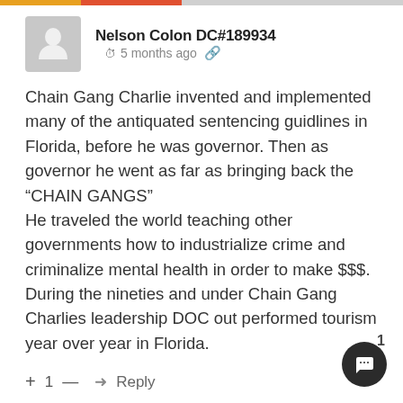Nelson Colon DC#189934  5 months ago
Chain Gang Charlie invented and implemented many of the antiquated sentencing guidlines in Florida, before he was governor. Then as governor he went as far as bringing back the “CHAIN GANGS”
He traveled the world teaching other governments how to industrialize crime and criminalize mental health in order to make $$$.
During the nineties and under Chain Gang Charlies leadership DOC out performed tourism year over year in Florida.
+ 1 —  ➞ Reply